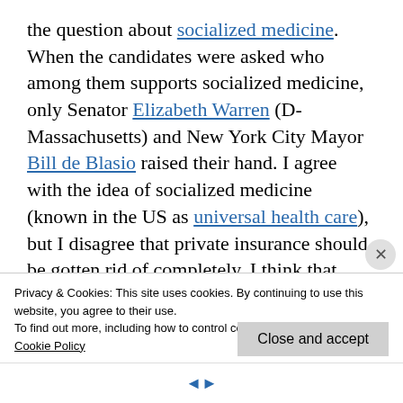the question about socialized medicine. When the candidates were asked who among them supports socialized medicine, only Senator Elizabeth Warren (D-Massachusetts) and New York City Mayor Bill de Blasio raised their hand. I agree with the idea of socialized medicine (known in the US as universal health care), but I disagree that private insurance should be gotten rid of completely. I think that every citizen should have access to some form of socialized medicine, but I also think there
Privacy & Cookies: This site uses cookies. By continuing to use this website, you agree to their use.
To find out more, including how to control cookies, see here:
Cookie Policy